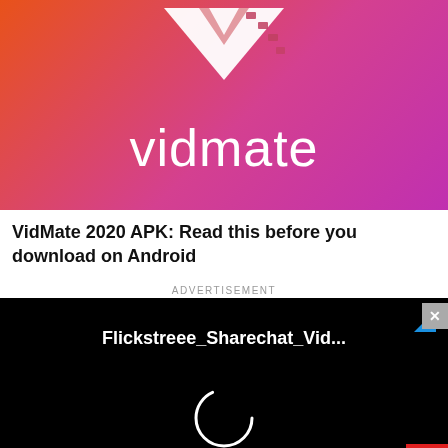[Figure (logo): VidMate app logo banner with orange-to-pink gradient background, white V chevron with film strip icon, and large white 'vidmate' text]
VidMate 2020 APK: Read this before you download on Android
[Figure (screenshot): Video advertisement player on black background showing title 'Flickstreee_Sharechat_Vid...' with a loading spinner circle, a small blue triangle in top-right, a grey X close button, and a red scroll-to-top arrow button in bottom-right. Label 'ADVERTISEMENT' appears above.]